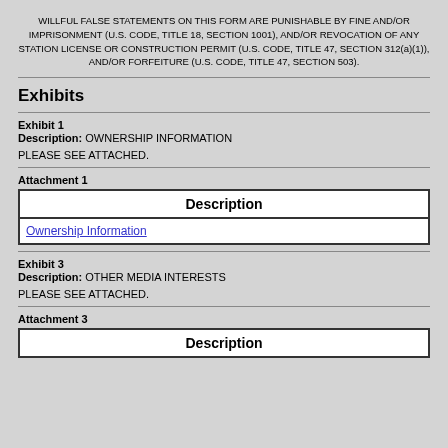WILLFUL FALSE STATEMENTS ON THIS FORM ARE PUNISHABLE BY FINE AND/OR IMPRISONMENT (U.S. CODE, TITLE 18, SECTION 1001), AND/OR REVOCATION OF ANY STATION LICENSE OR CONSTRUCTION PERMIT (U.S. CODE, TITLE 47, SECTION 312(a)(1)), AND/OR FORFEITURE (U.S. CODE, TITLE 47, SECTION 503).
Exhibits
Exhibit 1
Description: OWNERSHIP INFORMATION
PLEASE SEE ATTACHED.
Attachment 1
| Description |
| --- |
| Ownership Information |
Exhibit 3
Description: OTHER MEDIA INTERESTS
PLEASE SEE ATTACHED.
Attachment 3
| Description |
| --- |